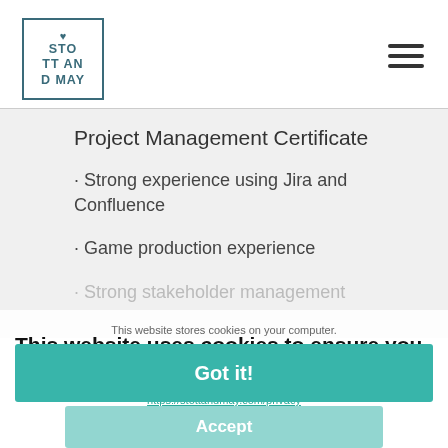[Figure (logo): Stott and May logo with heart icon in teal/dark teal rectangular border, text reads STO TT AN D MAY]
[Figure (other): Hamburger menu icon - three horizontal dark lines]
Project Management Certificate
· Strong experience using Jira and Confluence
· Game production experience
· Strong stakeholder management
This website stores cookies on your computer. and provide more personalized services to you, and through other media. To find out more about the cookies we use, visit https://stottandmay.com/privacy
This website uses cookies to ensure you get the best experience. read more
Got it!
Accept